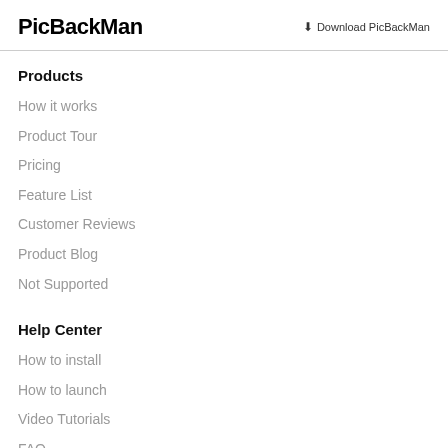PicBackMan | Download PicBackMan
Products
How it works
Product Tour
Pricing
Feature List
Customer Reviews
Product Blog
Not Supported
Help Center
How to install
How to launch
Video Tutorials
FAQ
Tips & Tricks